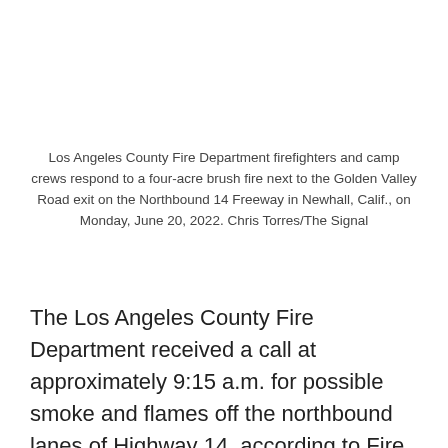Los Angeles County Fire Department firefighters and camp crews respond to a four-acre brush fire next to the Golden Valley Road exit on the Northbound 14 Freeway in Newhall, Calif., on Monday, June 20, 2022. Chris Torres/The Signal
The Los Angeles County Fire Department received a call at approximately 9:15 a.m. for possible smoke and flames off the northbound lanes of Highway 14, according to Fire Department Supervisor Aimy Velderrain. On arrival, firefighters witnessed a 1-acre hillside fire, which quickly grew to 5-acres, she